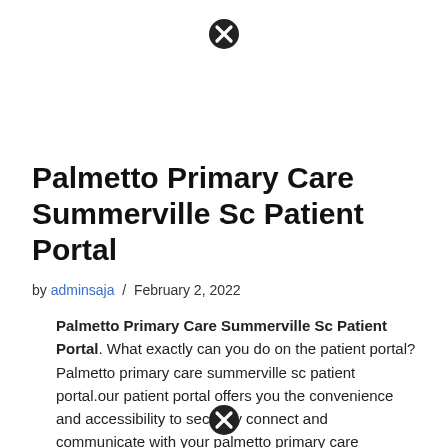[Figure (other): Close/cancel button icon (circle with X) at top center of page]
Palmetto Primary Care Summerville Sc Patient Portal
by adminsaja / February 2, 2022
Palmetto Primary Care Summerville Sc Patient Portal. What exactly can you do on the patient portal? Palmetto primary care summerville sc patient portal.our patient portal offers you the convenience and accessibility to securely connect and communicate with your palmetto primary care physicians office
[Figure (other): Close/cancel button icon (circle with X) at bottom center of page]